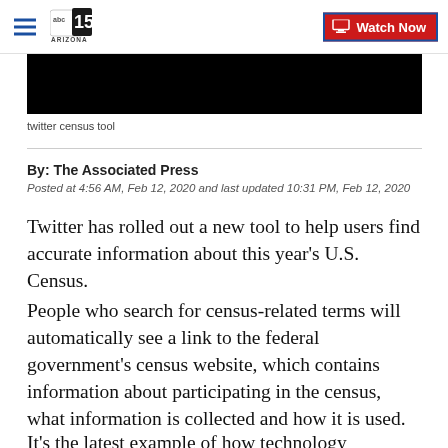abc15 ARIZONA — Watch Now
[Figure (screenshot): Black video thumbnail bar]
twitter census tool
By: The Associated Press
Posted at 4:56 AM, Feb 12, 2020 and last updated 10:31 PM, Feb 12, 2020
Twitter has rolled out a new tool to help users find accurate information about this year's U.S. Census.
People who search for census-related terms will automatically see a link to the federal government's census website, which contains information about participating in the census, what information is collected and how it is used.
It's the latest example of how technology companies